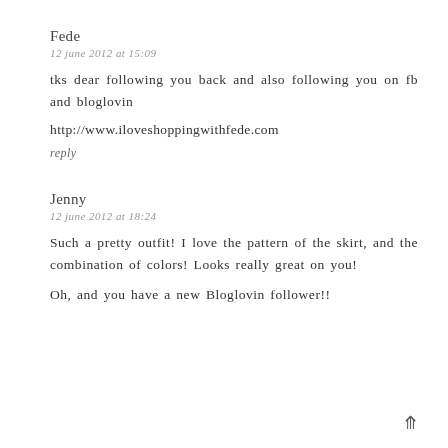Fede
12 june 2012 at 15:09
tks dear following you back and also following you on fb and bloglovin
http://www.iloveshoppingwithfede.com
reply
Jenny
12 june 2012 at 18:24
Such a pretty outfit! I love the pattern of the skirt, and the combination of colors! Looks really great on you!
Oh, and you have a new Bloglovin follower!!